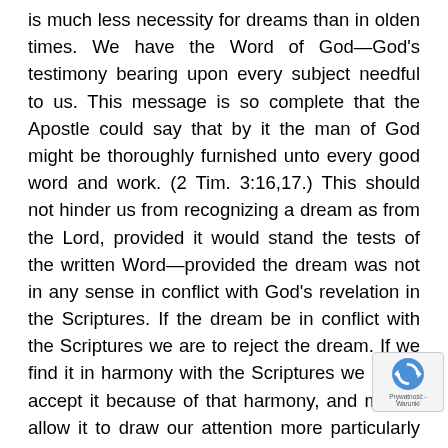is much less necessity for dreams than in olden times. We have the Word of God—God's testimony bearing upon every subject needful to us. This message is so complete that the Apostle could say that by it the man of God might be thoroughly furnished unto every good word and work. (2 Tim. 3:16,17.) This should not hinder us from recognizing a dream as from the Lord, provided it would stand the tests of the written Word—provided the dream was not in any sense in conflict with God's revelation in the Scriptures. If the dream be in conflict with the Scriptures we are to reject the dream. If we find it in harmony with the Scriptures we are to accept it because of that harmony, and merely allow it to draw our attention more particularly to the Scriptures with which it accords. But whether by dreams or walking by faith entirely, and not by sight dreams in any particular, the true child of God,
[Figure (other): reCAPTCHA badge with spinning arrows logo and 'Prywatność - Warunki' text]